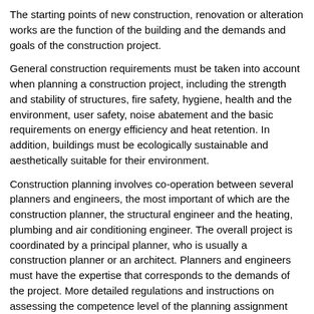The starting points of new construction, renovation or alteration works are the function of the building and the demands and goals of the construction project.
General construction requirements must be taken into account when planning a construction project, including the strength and stability of structures, fire safety, hygiene, health and the environment, user safety, noise abatement and the basic requirements on energy efficiency and heat retention. In addition, buildings must be ecologically sustainable and aesthetically suitable for their environment.
Construction planning involves co-operation between several planners and engineers, the most important of which are the construction planner, the structural engineer and the heating, plumbing and air conditioning engineer. The overall project is coordinated by a principal planner, who is usually a construction planner or an architect. Planners and engineers must have the expertise that corresponds to the demands of the project. More detailed regulations and instructions on assessing the competence level of the planning assignment and the competency of the planner can be found in the provisions on construction and, in particular, in Section A2 of the National Building Code of Finland on Building designers and plans.